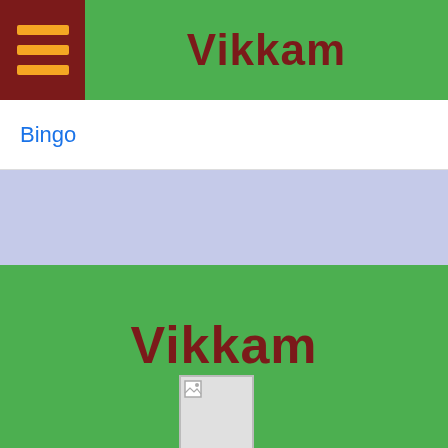Vikkam
Bingo
Vikkam
[Figure (photo): Small broken/placeholder image icon in the lower center of the green section]